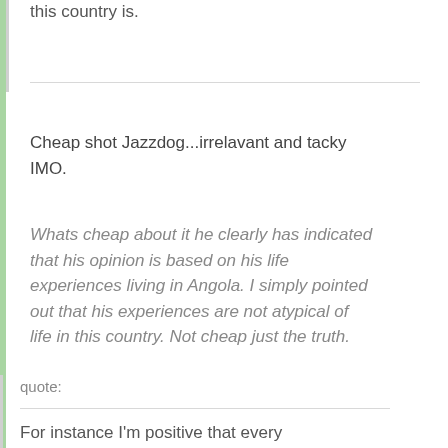this country is.
Cheap shot Jazzdog...irrelavant and tacky IMO.
Whats cheap about it he clearly has indicated that his opinion is based on his life experiences living in Angola. I simply pointed out that his experiences are not atypical of life in this country. Not cheap just the truth.
quote:
For instance I'm positive that every